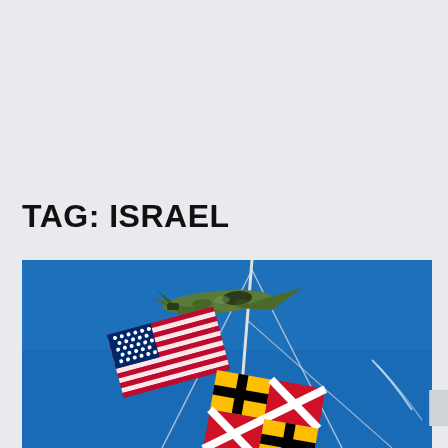TAG: ISRAEL
[Figure (photo): Photo showing military aircraft (camouflage fighter jet) flying above flagpoles carrying the American flag and the Maryland state flag against a vivid blue sky. The word 'presents' appears in italic gold text in the upper right of the image.]